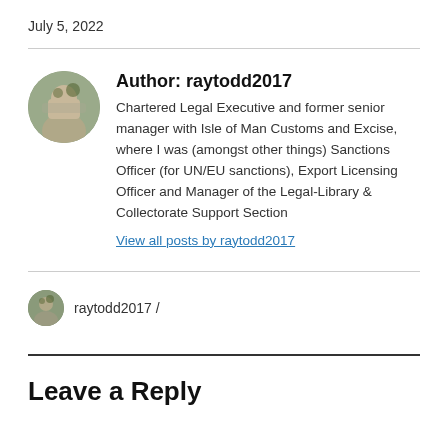July 5, 2022
Author: raytodd2017
Chartered Legal Executive and former senior manager with Isle of Man Customs and Excise, where I was (amongst other things) Sanctions Officer (for UN/EU sanctions), Export Licensing Officer and Manager of the Legal-Library & Collectorate Support Section
View all posts by raytodd2017
raytodd2017 /
Leave a Reply